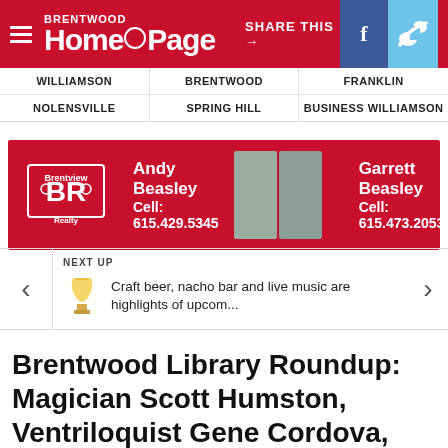Brentwood HomePage — SHARE THIS → f [twitter]
WILLIAMSON
BRENTWOOD
FRANKLIN
NOLENSVILLE
SPRING HILL
BUSINESS WILLIAMSON
[Figure (other): Advertisement banner for Brentwood Realty featuring Andy Beasley Cell: 615.429.5345 and Garrett Beasley Cell: 615.473.2053 with photos of both agents]
NEXT UP
Craft beer, nacho bar and live music are highlights of upcom...
Brentwood Library Roundup: Magician Scott Humston, Ventriloquist Gene Cordova, blood drives and more